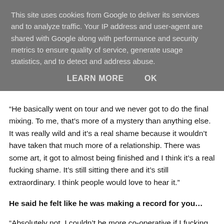This site uses cookies from Google to deliver its services and to analyze traffic. Your IP address and user-agent are shared with Google along with performance and security metrics to ensure quality of service, generate usage statistics, and to detect and address abuse.
LEARN MORE   OK
“He basically went on tour and we never got to do the final mixing. To me, that’s more of a mystery than anything else. It was really wild and it’s a real shame because it wouldn’t have taken that much more of a relationship. There was some art, it got to almost being finished and I think it’s a real fucking shame. It’s still sitting there and it’s still extraordinary. I think people would love to hear it.”
He said he felt like he was making a record for you…
“Absolutely not. I couldn’t be more co-operative if I fucking tried. My job as a producer is to try to gently encourage people to surprise themselves. I’ve got better at that [but] I wanted collaboration [in a way] that maybe he wasn’t prepared to be collaborative. The truth is I think he thought